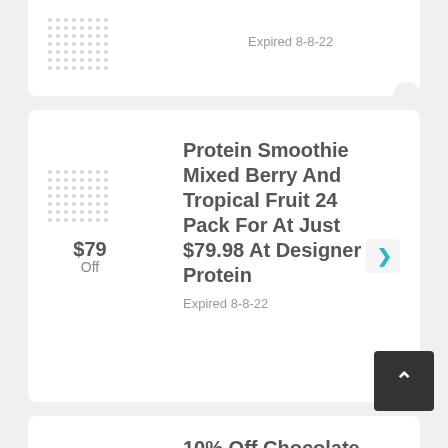Expired 8-8-22
$79 Off
Protein Smoothie Mixed Berry And Tropical Fruit 24 Pack For At Just $79.98 At Designer Protein
Expired 8-8-22
10% Off
10% Off Chocolate Designer Whey Protein Smoothies
Expired 9-8-22